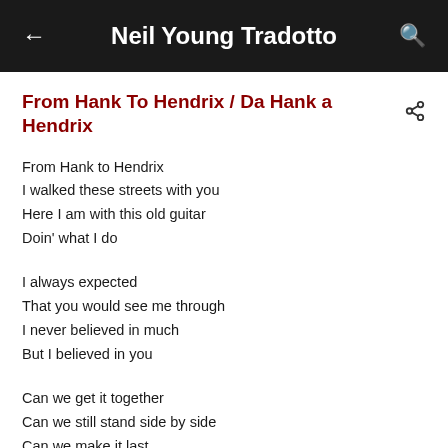Neil Young Tradotto
From Hank To Hendrix / Da Hank a Hendrix
From Hank to Hendrix
I walked these streets with you
Here I am with this old guitar
Doin' what I do
I always expected
That you would see me through
I never believed in much
But I believed in you
Can we get it together
Can we still stand side by side
Can we make it last
Like a musical ride?